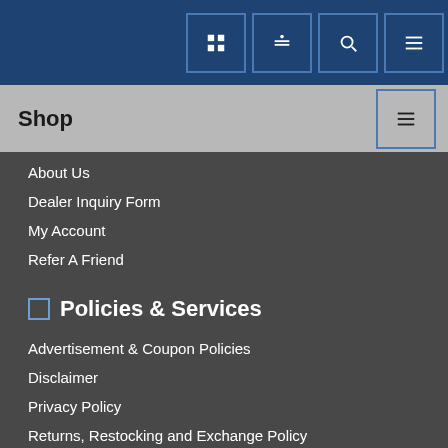Shop navigation header with icons
Shop
About Us
Dealer Inquiry Form
My Account
Refer A Friend
Policies & Services
Advertisement & Coupon Policies
Disclaimer
Privacy Policy
Returns, Restocking and Exchange Policy
Payment Methods